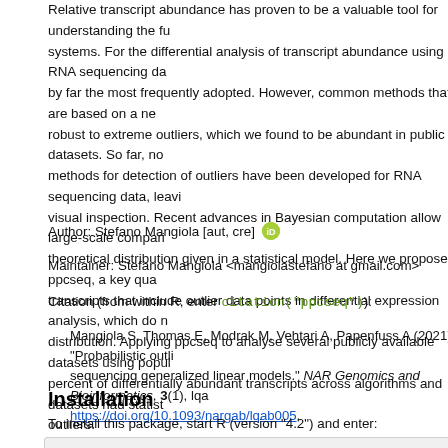Relative transcript abundance has proven to be a valuable tool for understanding the functional state of biological systems. For the differential analysis of transcript abundance using RNA sequencing data, negative-binomial models are by far the most frequently adopted. However, common methods that are based on a negative-binomial model are not robust to extreme outliers, which we found to be abundant in public datasets. So far, no dedicated and computationally fast methods for detection of outliers have been developed for RNA sequencing data, leaving the user of these methods to visual inspection. Recent advances in Bayesian computation allow large-scale comparison of each data point against its theoretical distribution given in a statistical model. Here we propose ppcseq, a key quality-control tool for identifying transcripts that include outlier data points in differential expression analysis, which do not follow a negative-binomial distribution. Applying ppcseq to analyse several publicly available datasets using popular tools, we found that up to 25 percent of differentially abundant transcripts across algorithms and datasets had statistically significant evidence of outliers.
Author: Stefano Mangiola [aut, cre]
Maintainer: Stefano Mangiola <mangiolastefano at gmail.com>
Citation (from within R, enter citation("ppcseq")):
Mangiola S, Thomas E, Modrak M, Vehtari A, Papenfuss A (2021). "Probabilistic outlier identification for RNA sequencing generalized linear models." NAR Genomics and Bioinformatics, 3(1), lqab005. https://doi.org/10.1093/nargab/lqab005.
Installation
To install this package, start R (version "4.2") and enter:
if (!require("BiocManager", quietly = TRUE))
    install.packages("BiocManager")